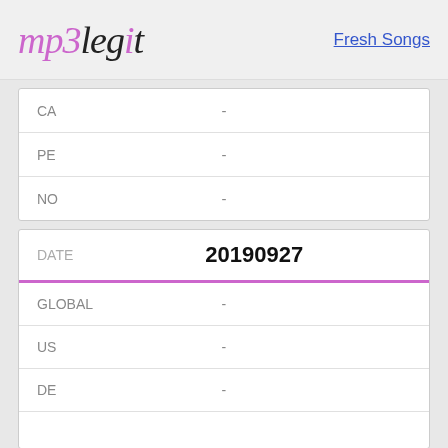mp3legit | Fresh Songs
| CA | - |
| PE | - |
| NO | - |
| DATE | 20190927 |
| --- | --- |
| GLOBAL | - |
| US | - |
| DE | - |